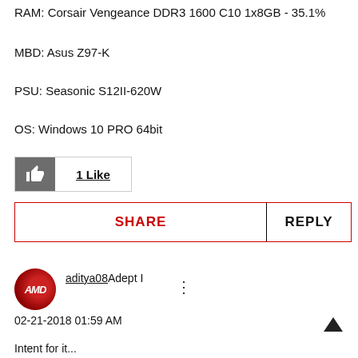RAM: Corsair Vengeance DDR3 1600 C10 1x8GB - 35.1%
MBD: Asus Z97-K
PSU: Seasonic S12II-620W
OS: Windows 10 PRO 64bit
[Figure (other): 1 Like button with thumbs-up icon]
[Figure (other): SHARE and REPLY action bar with red border]
[Figure (other): AMD user avatar (circular, red/dark)]
aditya08 Adept I
02-21-2018 01:59 AM
Intent for it...